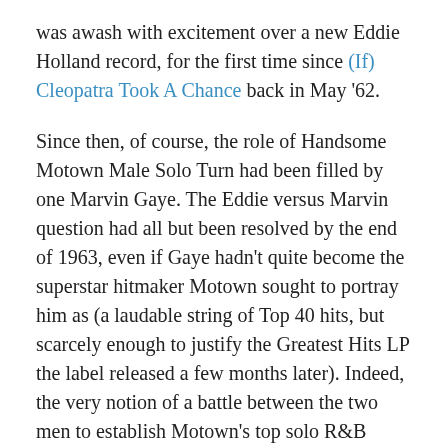was awash with excitement over a new Eddie Holland record, for the first time since (If) Cleopatra Took A Chance back in May '62.
Since then, of course, the role of Handsome Motown Male Solo Turn had been filled by one Marvin Gaye. The Eddie versus Marvin question had all but been resolved by the end of 1963, even if Gaye hadn't quite become the superstar hitmaker Motown sought to portray him as (a laudable string of Top 40 hits, but scarcely enough to justify the Greatest Hits LP the label released a few months later). Indeed, the very notion of a battle between the two men to establish Motown's top solo R&B performer was seems ludicrous to modern eyes, and so it's important to remember that for a time Eddie actually had the upper hand – he'd had a good-size hit in Jamie, and the path had been far from clear.